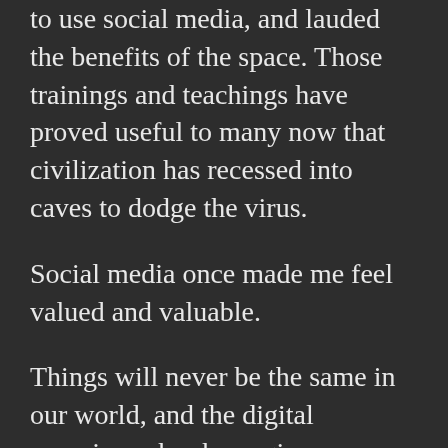to use social media, and lauded the benefits of the space. Those trainings and teachings have proved useful to many now that civilization has recessed into caves to dodge the virus.
Social media once made me feel valued and valuable.
Things will never be the same in our world, and the digital experience has been given new life and new meaning now that we observe forced distance. But social media will never replace the necessity of face-to-face interaction, something that was lost on